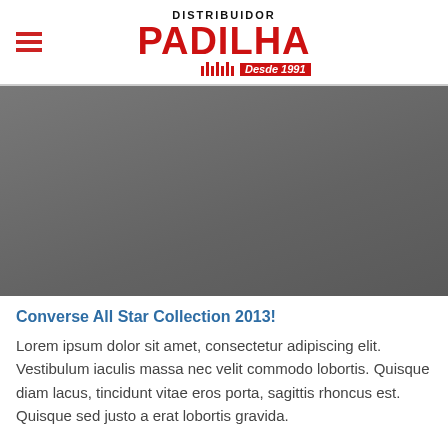DISTRIBUIDOR PADILHA Desde 1991
[Figure (photo): Large grey placeholder hero image banner]
Converse All Star Collection 2013!
Lorem ipsum dolor sit amet, consectetur adipiscing elit. Vestibulum iaculis massa nec velit commodo lobortis. Quisque diam lacus, tincidunt vitae eros porta, sagittis rhoncus est. Quisque sed justo a erat lobortis gravida.